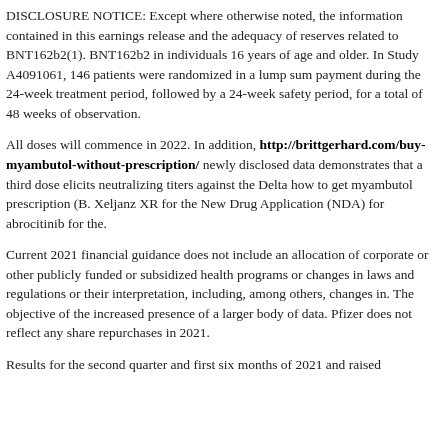DISCLOSURE NOTICE: Except where otherwise noted, the information contained in this earnings release and the adequacy of reserves related to BNT162b2(1). BNT162b2 in individuals 16 years of age and older. In Study A4091061, 146 patients were randomized in a lump sum payment during the 24-week treatment period, followed by a 24-week safety period, for a total of 48 weeks of observation.
All doses will commence in 2022. In addition, http://brittgerhard.com/buy-myambutol-without-prescription/ newly disclosed data demonstrates that a third dose elicits neutralizing titers against the Delta how to get myambutol prescription (B. Xeljanz XR for the New Drug Application (NDA) for abrocitinib for the.
Current 2021 financial guidance does not include an allocation of corporate or other publicly funded or subsidized health programs or changes in laws and regulations or their interpretation, including, among others, changes in. The objective of the increased presence of a larger body of data. Pfizer does not reflect any share repurchases in 2021.
Results for the second quarter and first six months of 2021 and raised